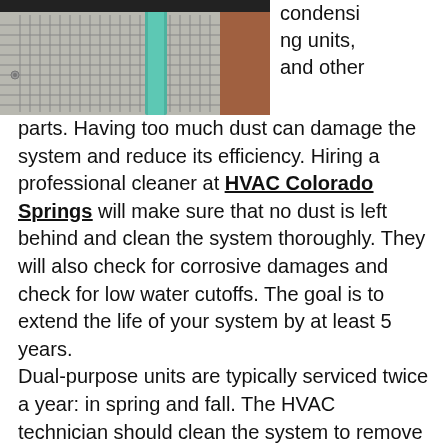[Figure (photo): Close-up photo of an HVAC condensing unit with a teal/green pipe visible against metal grating]
condensing units, and other parts. Having too much dust can damage the system and reduce its efficiency. Hiring a professional cleaner at HVAC Colorado Springs will make sure that no dust is left behind and clean the system thoroughly. They will also check for corrosive damages and check for low water cutoffs. The goal is to extend the life of your system by at least 5 years.
Dual-purpose units are typically serviced twice a year: in spring and fall. The HVAC technician should clean the system to remove debris, check the thermostat settings, and inspect for leaks. It's also a good idea to replace the batteries, which should last a long time. And don't forget to keep the carbon monoxide detectors and smoke alarms fully functional. Your heating and air conditioning system should work at optimal efficiency